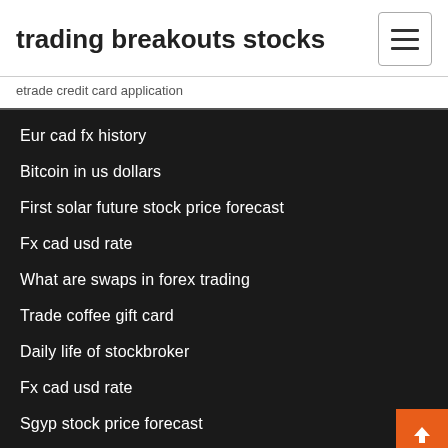trading breakouts stocks
etrade credit card application
Eur cad fx history
Bitcoin in us dollars
First solar future stock price forecast
Fx cad usd rate
What are swaps in forex trading
Trade coffee gift card
Daily life of stockbroker
Fx cad usd rate
Sgyp stock price forecast
Broker forex islam terbaik